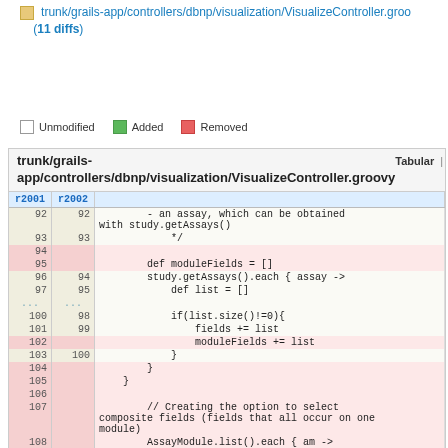trunk/grails-app/controllers/dbnp/visualization/VisualizeController.groovy (11 diffs)
Unmodified   Added   Removed
| r2001 | r2002 | trunk/grails-app/controllers/dbnp/visualization/VisualizeController.groovy |
| --- | --- | --- |
| 92 | 92 | - an assay, which can be obtained with study.getAssays() |
| 93 | 93 | */ |
| 94 |  |  |
| 95 |  | def moduleFields = [] |
| 96 | 94 | study.getAssays().each { assay -> |
| 97 | 95 | def list = [] |
| ... | ... |  |
| 100 | 98 | if(list.size()!=0){ |
| 101 | 99 | fields += list |
| 102 |  | moduleFields += list |
| 103 | 100 | } |
| 104 |  | } |
| 105 |  | } |
| 106 |  |  |
| 107 |  | // Creating the option to select composite fields (fields that all occur on one module) |
| 108 |  | AssayModule.list().each { am -> |